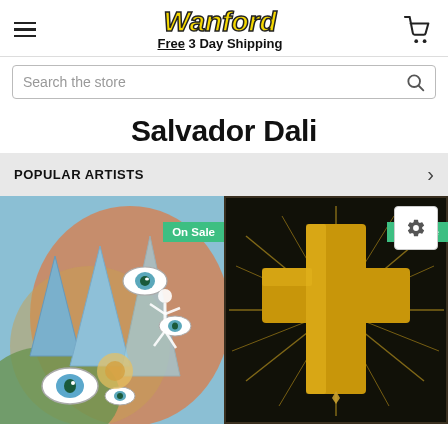Wanford — Free 3 Day Shipping
Search the store
Salvador Dali
POPULAR ARTISTS
[Figure (screenshot): Two product images side by side: left is a surrealist painting with eyes and figures on blue/orange background with 'On Sale' badge; right is a dark painting with a golden cross with 'On Sale' badge. A settings gear icon button appears in top-right of products area.]